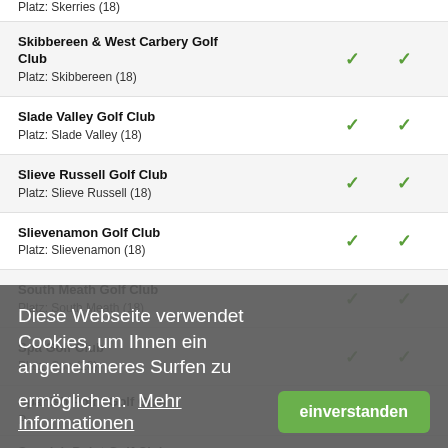Platz: Skerries (18)
Skibbereen & West Carbery Golf Club
Platz: Skibbereen (18)
Slade Valley Golf Club
Platz: Slade Valley (18)
Slieve Russell Golf Club
Platz: Slieve Russell (18)
Slievenamon Golf Club
Platz: Slievenamon (18)
South Meath Golf Club
Platz: South Meath (18)
Spa Golf Club
Platz: Spa (18)
Spanish Point Golf Club
Spanish Point Golf Club
Platz: Spanish Point (1x9)
Diese Webseite verwendet Cookies, um Ihnen ein angenehmeres Surfen zu ermöglichen. Mehr Informationen
einverstanden